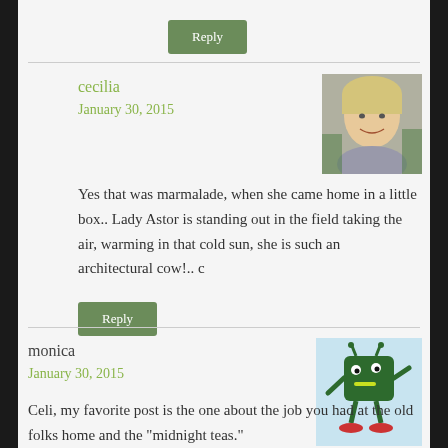Reply
cecilia
January 30, 2015
[Figure (photo): Avatar photo of cecilia, a blonde woman smiling]
Yes that was marmalade, when she came home in a little box.. Lady Astor is standing out in the field taking the air, warming in that cold sun, she is such an architectural cow!.. c
Reply
monica
January 30, 2015
[Figure (illustration): Avatar illustration of monica, a cartoon green character]
Celi, my favorite post is the one about the job you had at the old folks home and the "midnight teas."